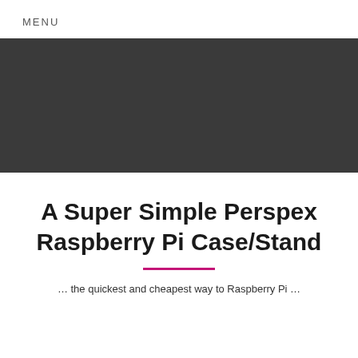MENU
[Figure (photo): Dark grey/charcoal rectangular banner image area]
A Super Simple Perspex Raspberry Pi Case/Stand
… (teaser text partially visible at bottom)